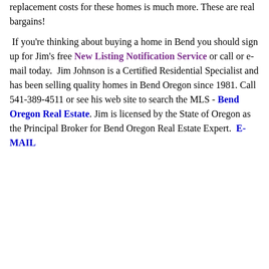Replacement costs for these homes is much more. These are real bargains!
If you're thinking about buying a home in Bend you should sign up for Jim's free New Listing Notification Service or call or e-mail today. Jim Johnson is a Certified Residential Specialist and has been selling quality homes in Bend Oregon since 1981. Call 541-389-4511 or see his web site to search the MLS - Bend Oregon Real Estate. Jim is licensed by the State of Oregon as the Principal Broker for Bend Oregon Real Estate Expert. E-MAIL